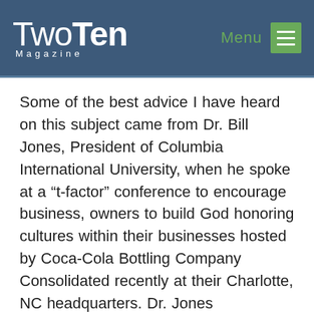TwoTen Magazine | Menu
Some of the best advice I have heard on this subject came from Dr. Bill Jones, President of Columbia International University, when he spoke at a “t-factor” conference to encourage business, owners to build God honoring cultures within their businesses hosted by Coca-Cola Bottling Company Consolidated recently at their Charlotte, NC headquarters. Dr. Jones encouraged business leaders to avoid the trap of simply adopting programs and focus instead on establishing stair steps to long-term success. Each of the steps led to great spiritual maturity leading to Christian